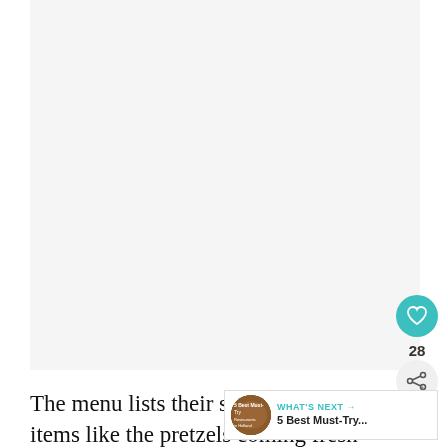[Figure (photo): Large blank/white image area taking up the upper portion of the page]
[Figure (infographic): Teal heart icon button with like count of 28 and a share button below it on the right side]
[Figure (infographic): WHAT'S NEXT overlay with thumbnail and text '5 Best Must-Try...']
The menu lists their suppliers, with items like the pretzels coming fresh from the